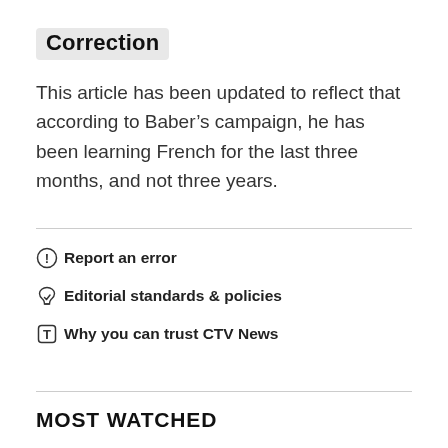Correction
This article has been updated to reflect that according to Baber’s campaign, he has been learning French for the last three months, and not three years.
Report an error
Editorial standards & policies
Why you can trust CTV News
MOST WATCHED